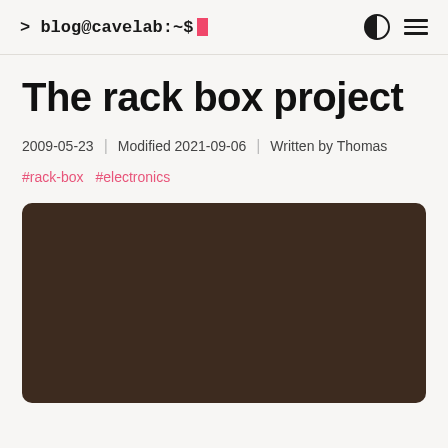> blog@cavelab:~$
The rack box project
2009-05-23 | Modified 2021-09-06 | Written by Thomas
#rack-box  #electronics
[Figure (photo): Dark brown rectangular image, likely a photo of the rack box project, shown with rounded corners against a light background.]